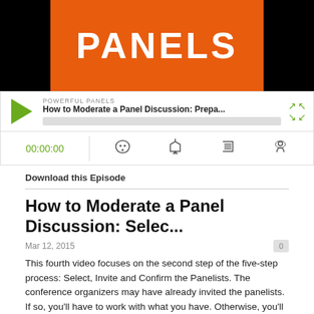[Figure (screenshot): Podcast player screenshot showing 'Powerful Panels' podcast with orange PANELS logo on black background, play button, progress bar, time display 00:00:00, and media control icons]
Download this Episode
How to Moderate a Panel Discussion: Selec...
Mar 12, 2015
This fourth video focuses on the second step of the five-step process: Select, Invite and Confirm the Panelists. The conference organizers may have already invited the panelists. If so, you'll have to work with what you have. Otherwise, you'll need to round up a handful of interesting people with different experiences and perspectives. What's a "handful"? It depends on the situation, but for most panels, 3-4 experts is perfect. Any fewer, it becomes difficult to flesh out all the points of view or simply becomes an interview. Five or more